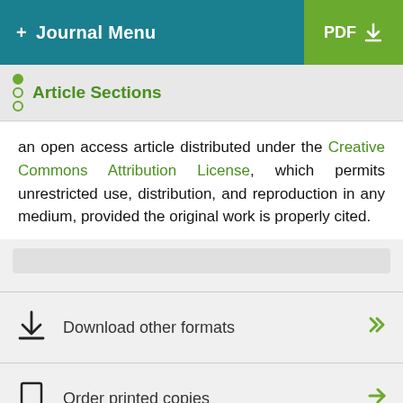+ Journal Menu | PDF
Article Sections
an open access article distributed under the Creative Commons Attribution License, which permits unrestricted use, distribution, and reproduction in any medium, provided the original work is properly cited.
Download other formats
Order printed copies